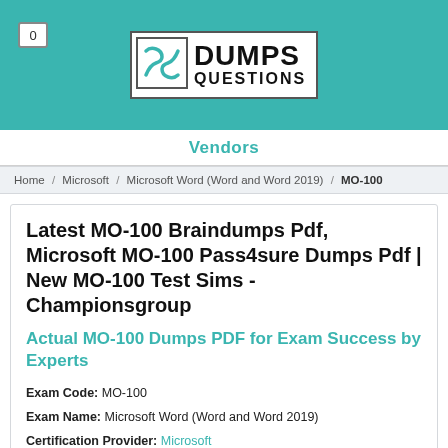[Figure (logo): DumpsQuestions logo with teal header bar and cart badge showing 0]
Vendors
Home / Microsoft / Microsoft Word (Word and Word 2019) / MO-100
Latest MO-100 Braindumps Pdf, Microsoft MO-100 Pass4sure Dumps Pdf | New MO-100 Test Sims - Championsgroup
Actual MO-100 Dumps PDF for Exam Success by Experts
Exam Code: MO-100
Exam Name: Microsoft Word (Word and Word 2019)
Certification Provider: Microsoft
Related Certification: Microsoft Word (Word and Word 2019).